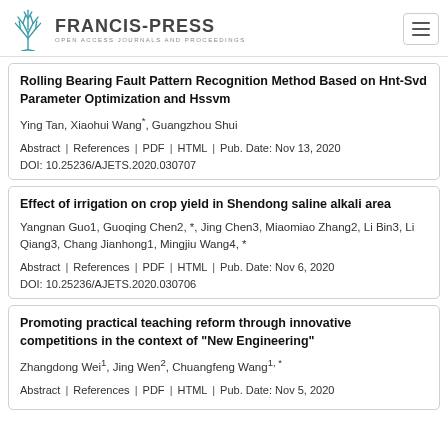FRANCIS-PRESS | OPEN ACCESS JOURNALS AND PROCEEDINGS
Rolling Bearing Fault Pattern Recognition Method Based on Hnt-Svd Parameter Optimization and Hssvm
Ying Tan, Xiaohui Wang*, Guangzhou Shui
Abstract | References | PDF | HTML | Pub. Date: Nov 13, 2020
DOI: 10.25236/AJETS.2020.030707
Effect of irrigation on crop yield in Shendong saline alkali area
Yangnan Guo1, Guoqing Chen2, *, Jing Chen3, Miaomiao Zhang2, Li Bin3, Li Qiang3, Chang Jianhong1, Mingjiu Wang4, *
Abstract | References | PDF | HTML | Pub. Date: Nov 6, 2020
DOI: 10.25236/AJETS.2020.030706
Promoting practical teaching reform through innovative competitions in the context of "New Engineering"
Zhangdong Wei1, Jing Wen2, Chuangfeng Wang1, *
Abstract | References | PDF | HTML | Pub. Date: Nov 5, 2020